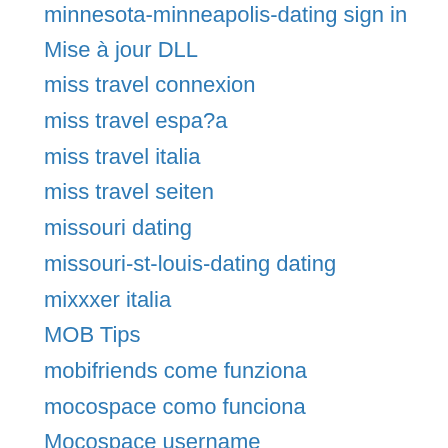minnesota-minneapolis-dating sign in
Mise à jour DLL
miss travel connexion
miss travel espa?a
miss travel italia
miss travel seiten
missouri dating
missouri-st-louis-dating dating
mixxxer italia
MOB Tips
mobifriends come funziona
mocospace como funciona
Mocospace username
Mocospace visitors
modesto escort definition meaning